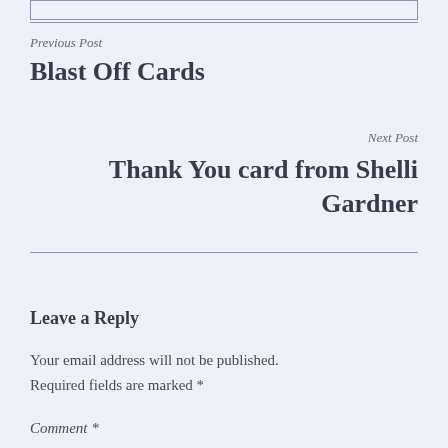Previous Post
Blast Off Cards
Next Post
Thank You card from Shelli Gardner
Leave a Reply
Your email address will not be published. Required fields are marked *
Comment *